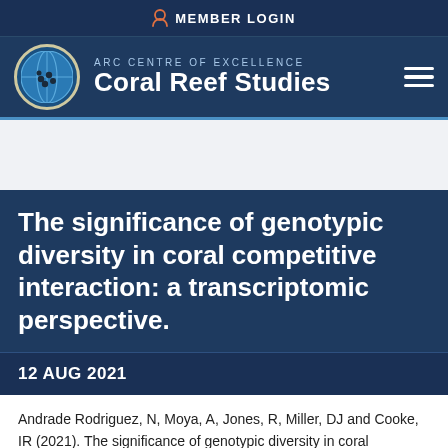MEMBER LOGIN
[Figure (logo): ARC Centre of Excellence Coral Reef Studies logo with globe icon]
The significance of genotypic diversity in coral competitive interaction: a transcriptomic perspective.
12 AUG 2021
Andrade Rodriguez, N, Moya, A, Jones, R, Miller, DJ and Cooke, IR (2021). The significance of genotypic diversity in coral competitive interaction: a transcriptomic perspective. Frontiers in Ecology and